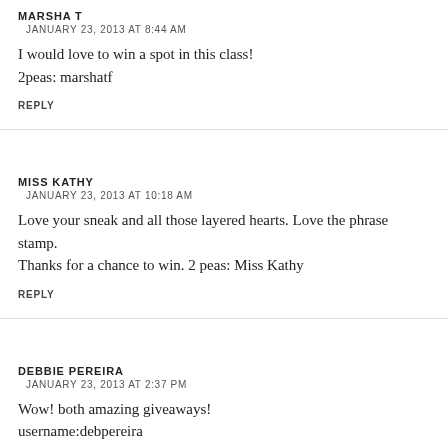MARSHA T
JANUARY 23, 2013 AT 8:44 AM
I would love to win a spot in this class!
2peas: marshatf
REPLY
MISS KATHY
JANUARY 23, 2013 AT 10:18 AM
Love your sneak and all those layered hearts. Love the phrase stamp. Thanks for a chance to win. 2 peas: Miss Kathy
REPLY
DEBBIE PEREIRA
JANUARY 23, 2013 AT 2:37 PM
Wow! both amazing giveaways!
username:debpereira
REPLY